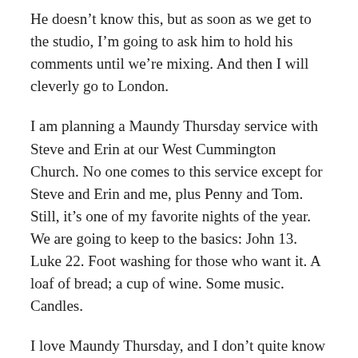He doesn't know this, but as soon as we get to the studio, I'm going to ask him to hold his comments until we're mixing. And then I will cleverly go to London.
I am planning a Maundy Thursday service with Steve and Erin at our West Cummington Church. No one comes to this service except for Steve and Erin and me, plus Penny and Tom. Still, it's one of my favorite nights of the year. We are going to keep to the basics: John 13. Luke 22. Foot washing for those who want it. A loaf of bread; a cup of wine. Some music. Candles.
I love Maundy Thursday, and I don't quite know why. I think it crystalizes that moment when the word becomes flesh. Jesus lives right on into that passover meal, the bread and the wine; he lives right on into the washing of his friends' feet, his call for them to take care of each other, to love one another. That's the proof of authenticity of